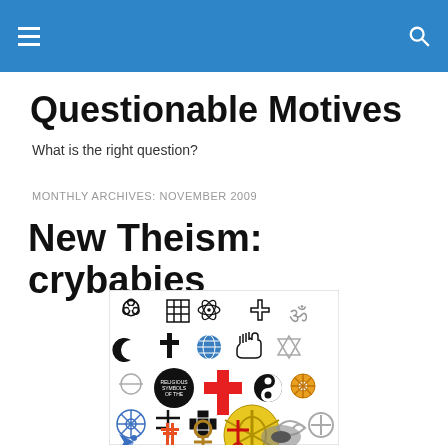Questionable Motives
What is the right question?
MONTHLY ARCHIVES: NOVEMBER 2009
New Theism: crybabies
[Figure (illustration): A collection of religious and spiritual symbols including biohazard, Christian cross, Star of David, crescent moon, yin-yang, ankh, and many other world religion icons arranged in a square collage.]